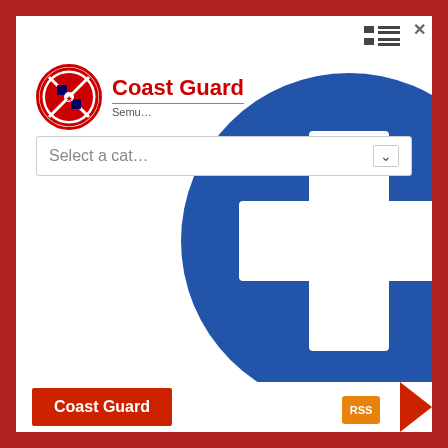[Figure (logo): Coast Guard circular logo with red border and flag design inside]
Coast G[uard]
Semu[ph...]
Select a cat[egory]
[Figure (illustration): Large blue circle with white plus/cross symbol in the center, partially overlapping the header]
Coast Guard
RSS